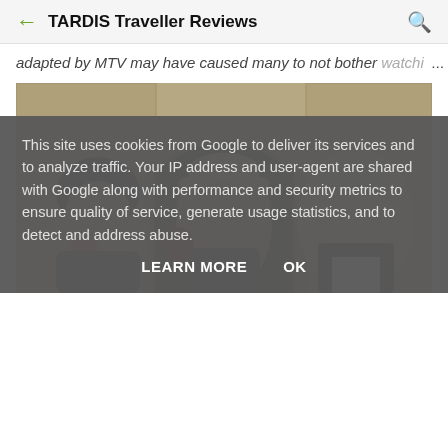TARDIS Traveller Reviews
adapted by MTV may have caused many to not bother watchi... ...
[Figure (photo): Three people standing in front of a stone arched doorway. On the left is a woman with dark curly hair wearing a red accessory. In the center is a man wearing a cream-colored hat. On the right is an older man wearing a black clerical outfit.]
This site uses cookies from Google to deliver its services and to analyze traffic. Your IP address and user-agent are shared with Google along with performance and security metrics to ensure quality of service, generate usage statistics, and to detect and address abuse.
LEARN MORE    OK